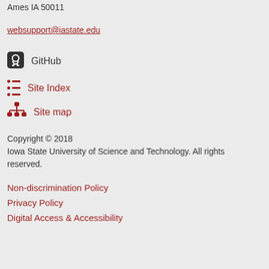Ames IA 50011
websupport@iastate.edu
GitHub
Site Index
Site map
Copyright © 2018
Iowa State University of Science and Technology. All rights reserved.
Non-discrimination Policy
Privacy Policy
Digital Access & Accessibility